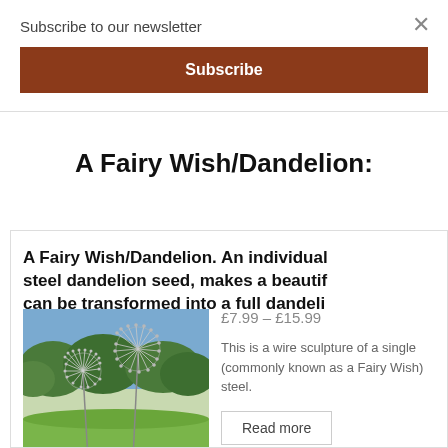Subscribe to our newsletter
Subscribe
A Fairy Wish/Dandelion:
A Fairy Wish/Dandelion. An individual steel dandelion seed, makes a beautiful can be transformed into a full dandeli
[Figure (photo): Wire sculpture of a single steel dandelion seed (fairy wish) standing on grass with trees in background]
£7.99 – £15.99
This is a wire sculpture of a single (commonly known as a Fairy Wish) steel.
Read more